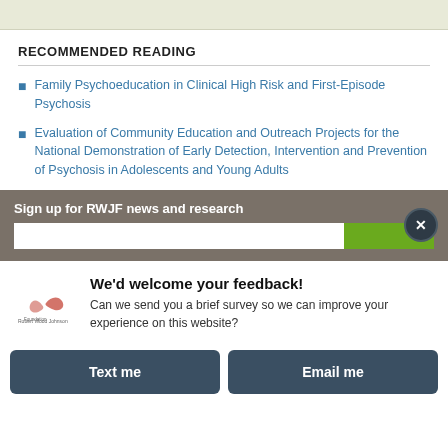[Figure (other): Top decorative image bar with light olive/tan background]
RECOMMENDED READING
Family Psychoeducation in Clinical High Risk and First-Episode Psychosis
Evaluation of Community Education and Outreach Projects for the National Demonstration of Early Detection, Intervention and Prevention of Psychosis in Adolescents and Young Adults
Sign up for RWJF news and research
We'd welcome your feedback! Can we send you a brief survey so we can improve your experience on this website?
Text me
Email me